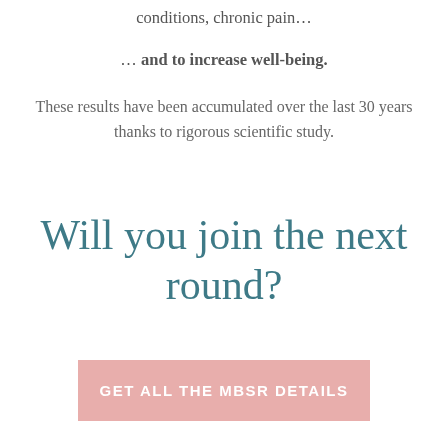conditions, chronic pain…
… and to increase well-being.
These results have been accumulated over the last 30 years thanks to rigorous scientific study.
Will you join the next round?
GET ALL THE MBSR DETAILS